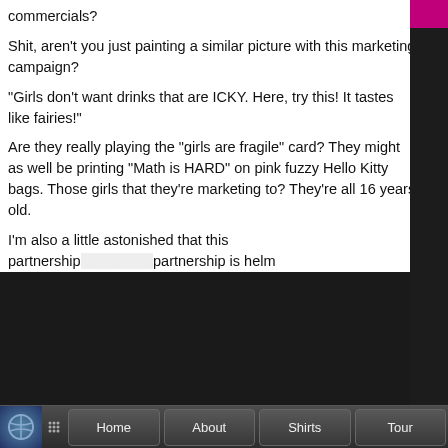commercials?
Shit, aren't you just painting a similar picture with this marketing campaign?
“Girls don’t want drinks that are ICKY. Here, try this! It tastes like fairies!”
Are they really playing the “girls are fragile” card? They might as well be printing “Math is HARD” on pink fuzzy Hello Kitty bags. Those girls that they’re marketing to? They’re all 16 years old.
I’m also a little astonished that this partnership … partnership is helm…
[Figure (screenshot): An overlay UI menu panel with a dark background showing: Categories (Show category details...), Tag Cloud (Show the Tag Cloud...), Blog RSS (Follow the Blog RSS...), Comments RSS (Follow the Comments RSS...), Last 50 Posts. Below is a search bar. A user account popup overlay shows a placeholder avatar, Register an account, Change Theme... and icon buttons.]
[Figure (screenshot): Bottom taskbar with logo, grid icon, and navigation buttons: Home, About, Shirts, Tour]